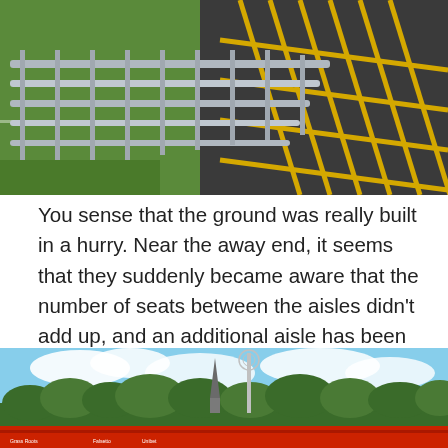[Figure (photo): Photo of a metal railing/barrier at a football ground with green pitch on the left and a tarmac car park with yellow grid lines on the right, viewed from above at an angle.]
You sense that the ground was really built in a hurry. Near the away end, it seems that they suddenly became aware that the number of seats between the aisles didn’t add up, and an additional aisle has been thrown in somewhat randomly.
[Figure (photo): Photo of a football stadium exterior showing a red-roofed stand with advertising hoardings, trees in the background, a tall floodlight pole with a circular crest/badge, a church spire visible behind the trees, and a blue sky with white clouds above.]